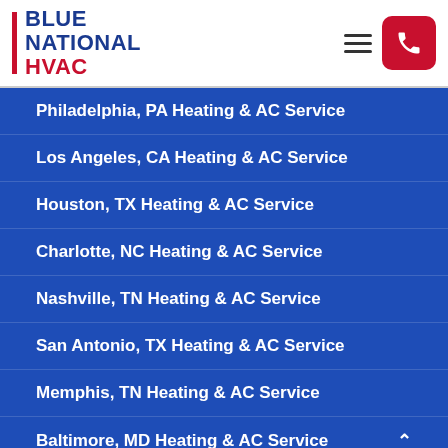[Figure (logo): Blue National HVAC logo with red vertical bar and blue/red text]
Philadelphia, PA Heating & AC Service
Los Angeles, CA Heating & AC Service
Houston, TX Heating & AC Service
Charlotte, NC Heating & AC Service
Nashville, TN Heating & AC Service
San Antonio, TX Heating & AC Service
Memphis, TN Heating & AC Service
Baltimore, MD Heating & AC Service
Washington, DC Heating & AC Service